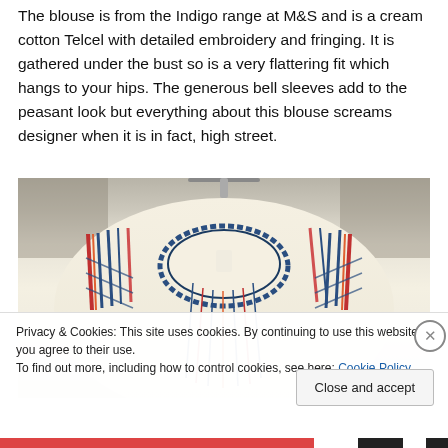The blouse is from the Indigo range at M&S and is a cream cotton Telcel with detailed embroidery and fringing. It is gathered under the bust so is a very flattering fit which hangs to your hips. The generous bell sleeves add to the peasant look but everything about this blouse screams designer when it is in fact, high street.
[Figure (photo): Close-up photograph of a cream colored embroidered blouse on a hanger, showing detailed blue and red/pink embroidery around the neckline and shoulders]
Privacy & Cookies: This site uses cookies. By continuing to use this website, you agree to their use.
To find out more, including how to control cookies, see here: Cookie Policy